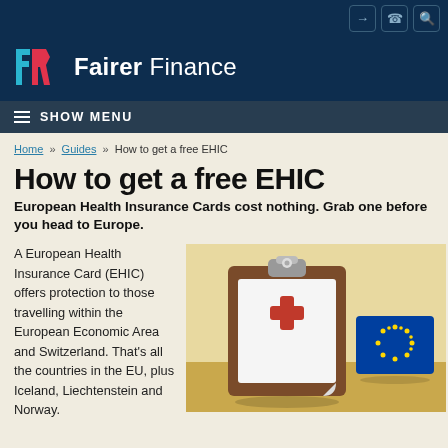[Figure (logo): Fairer Finance logo with stylized 'FF' icon in red and cyan on dark navy background, followed by text 'Fairer Finance' in white]
≡ SHOW MENU
Home » Guides » How to get a free EHIC
How to get a free EHIC
European Health Insurance Cards cost nothing. Grab one before you head to Europe.
A European Health Insurance Card (EHIC) offers protection to those travelling within the European Economic Area and Switzerland. That's all the countries in the EU, plus Iceland, Liechtenstein and Norway.
[Figure (illustration): Illustration showing a clipboard with a red cross medical symbol and an EU flag card, on a tan/yellow background]